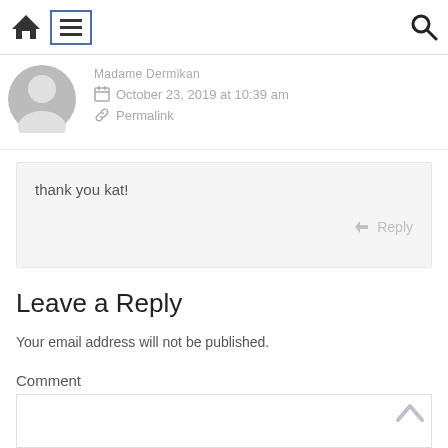Navigation bar with home, menu, and search icons
Madame Dermikan
October 23, 2019 at 10:39 am
Permalink
thank you kat!
Reply
Leave a Reply
Your email address will not be published.
Comment